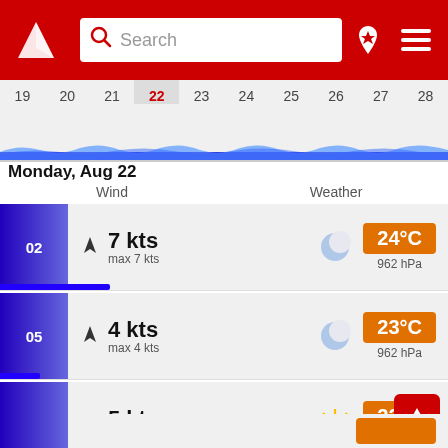[Figure (screenshot): App header bar with logo, search box, pin icon, and hamburger menu on red background]
[Figure (other): Date strip showing dates 19-28, with 22 highlighted in red, and wave/wind chart below]
Monday, Aug 22
Wind   Weather
| Time | Wind Speed | Max Wind | Weather Icon | Temperature | Pressure |
| --- | --- | --- | --- | --- | --- |
| 02 | 7 kts | max 7 kts | moon | 24°C | 962 hPa |
| 05 | 4 kts | max 4 kts | moon | 23°C | 962 hPa |
| 08 | 5 kts | max 5 kts | sun | 22°C | 962 hPa |
| 11 | 4 kts | max 4 kts | sun | 30°C | 962 hPa |